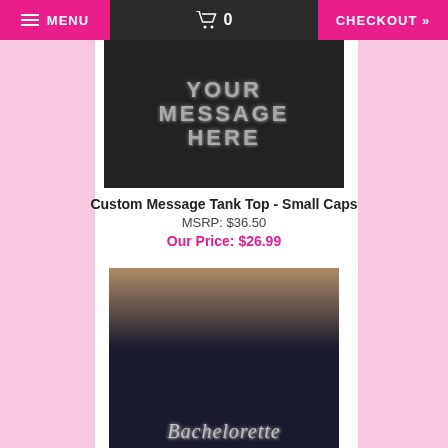MENU | 0 | CHECKOUT »
[Figure (photo): Black tank top with rhinestone text reading YOUR MESSAGE HERE in capital letters, worn by a person, cropped to torso]
Custom Message Tank Top - Small Caps
MSRP: $36.50
Our Price: $26.99
[Figure (photo): Woman with long wavy brown hair wearing a dark navy racerback tank top with rhinestone script text reading Bachelorette on the chest, smiling, cropped to upper body]